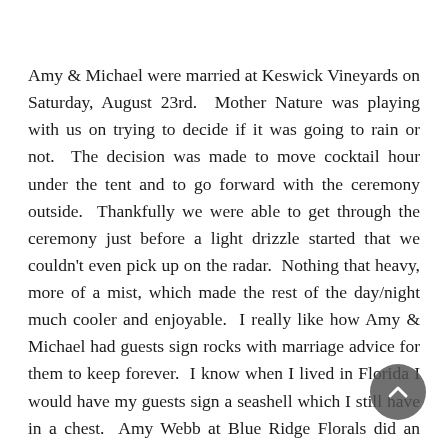Amy & Michael were married at Keswick Vineyards on Saturday, August 23rd.  Mother Nature was playing with us on trying to decide if it was going to rain or not.  The decision was made to move cocktail hour under the tent and to go forward with the ceremony outside.  Thankfully we were able to get through the ceremony just before a light drizzle started that we couldn't even pick up on the radar.  Nothing that heavy, more of a mist, which made the rest of the day/night much cooler and enjoyable.  I really like how Amy & Michael had guests sign rocks with marriage advice for them to keep forever.  I know when I lived in Florida I would have my guests sign a seashell which I still have in a chest.  Amy Webb at Blue Ridge Florals did an amazing job with the flowers along with Pearl's Cupcake with a beautiful dessert table.  Thanks to the following vendors for making this wedding a dream come true for Amy & Michael:  Caterer Harvest Moon,